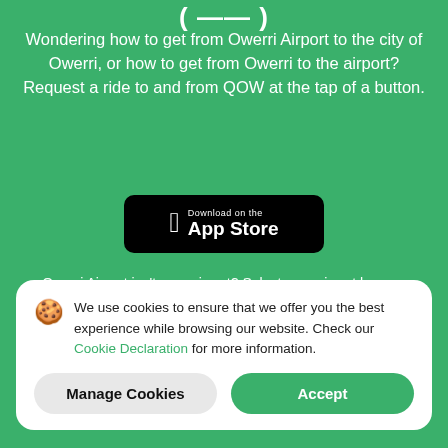( … )
Wondering how to get from Owerri Airport to the city of Owerri, or how to get from Owerri to the airport? Request a ride to and from QOW at the tap of a button.
[Figure (screenshot): Download on the App Store button (black rounded rectangle with Apple logo)]
Owerri Airport isn't your airport? Select your airport here →
We use cookies to ensure that we offer you the best experience while browsing our website. Check our Cookie Declaration for more information.
Manage Cookies  Accept